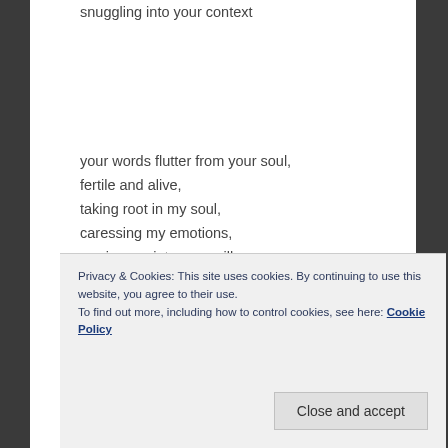snuggling into your context
your words flutter from your soul,
fertile and alive,
taking root in my soul,
caressing my emotions,
sewing me into your will
and stitching me into your desires
your words touch every place that was once untouchable,
Privacy & Cookies: This site uses cookies. By continuing to use this website, you agree to their use.
To find out more, including how to control cookies, see here: Cookie Policy
Close and accept